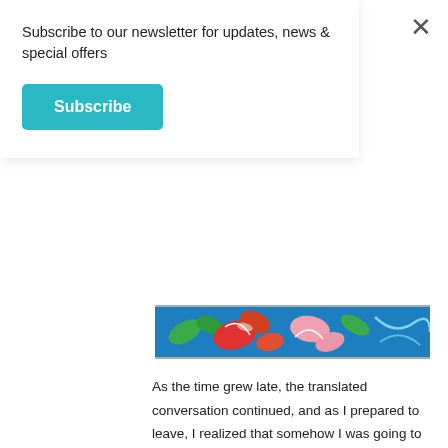Subscribe to our newsletter for updates, news & special offers
Subscribe
[Figure (photo): Colorful decorative image strip showing floral/folk art motifs on a blue background with red, pink, and green elements]
As the time grew late, the translated conversation continued, and as I prepared to leave, I realized that somehow I was going to leave part of my heart behind in the tiny village of San Ramon. Those big brown eyes of the smiling children, the kindness of complete strangers, and the simplicity of life both added to my life and perhaps even changed me. The goodbyes were long and extended, and included